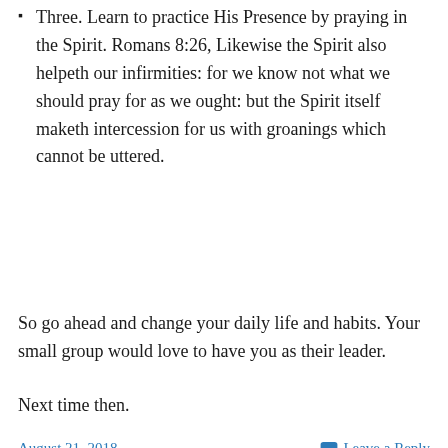Three. Learn to practice His Presence by praying in the Spirit. Romans 8:26, Likewise the Spirit also helpeth our infirmities: for we know not what we should pray for as we ought: but the Spirit itself maketh intercession for us with groanings which cannot be uttered.
So go ahead and change your daily life and habits. Your small group would love to have you as their leader.
Next time then.
August 21, 2018    Leave a Reply
[Figure (photo): A photograph of camels in a desert landscape with a light sky and sandy terrain.]